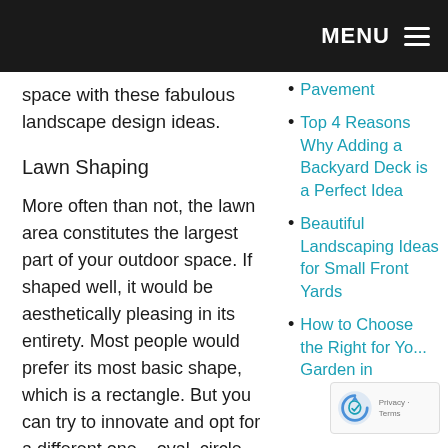MENU ☰
space with these fabulous landscape design ideas.
Lawn Shaping
More often than not, the lawn area constitutes the largest part of your outdoor space. If shaped well, it would be aesthetically pleasing in its entirety. Most people would prefer its most basic shape, which is a rectangle. But you can try to innovate and opt for a different one – oval, circle, square, or oblong.
Colours and Patterns
The colours and patterns of your
Pavement
Top 4 Reasons Why Adding a Backyard Deck is a Perfect Idea
Beautiful Landscaping Ideas for Small Front Yards
How to Choose the Right for Yo... Garden in